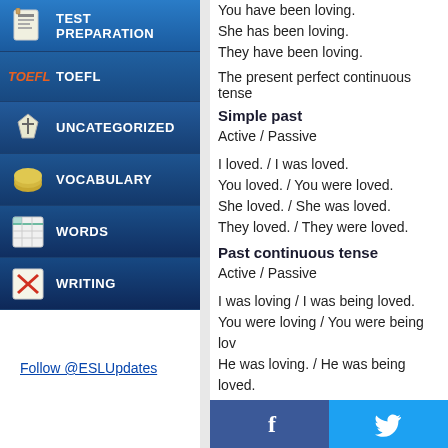TEST PREPARATION
TOEFL
UNCATEGORIZED
VOCABULARY
WORDS
WRITING
Follow @ESLUpdates
You have been loving.
She has been loving.
They have been loving.
The present perfect continuous tense
Simple past
Active / Passive
I loved. / I was loved.
You loved. / You were loved.
She loved. / She was loved.
They loved. / They were loved.
Past continuous tense
Active / Passive
I was loving / I was being loved.
You were loving / You were being lov
He was loving. / He was being loved.
They were loving. / They were being